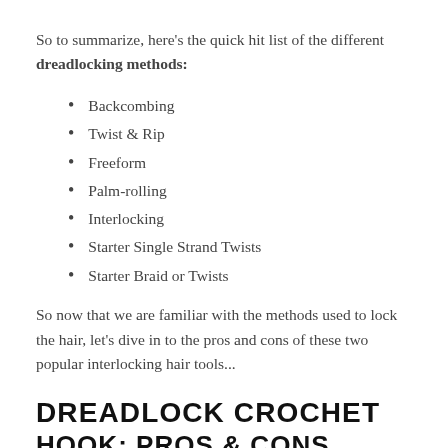So to summarize, here's the quick hit list of the different dreadlocking methods:
Backcombing
Twist & Rip
Freeform
Palm-rolling
Interlocking
Starter Single Strand Twists
Starter Braid or Twists
So now that we are familiar with the methods used to lock the hair, let's dive in to the pros and cons of these two popular interlocking hair tools...
DREADLOCK CROCHET HOOK: PROS & CONS
Pros: Easy to find at any local craft store or online. It's